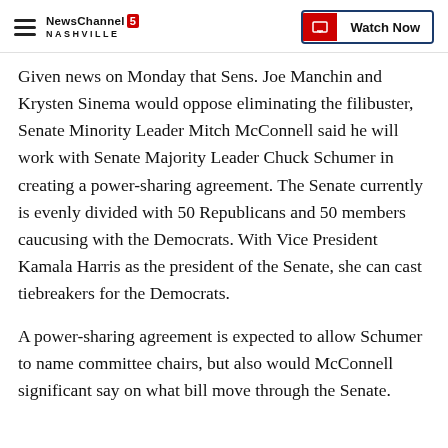NewsChannel 5 Nashville — Watch Now
Given news on Monday that Sens. Joe Manchin and Krysten Sinema would oppose eliminating the filibuster, Senate Minority Leader Mitch McConnell said he will work with Senate Majority Leader Chuck Schumer in creating a power-sharing agreement. The Senate currently is evenly divided with 50 Republicans and 50 members caucusing with the Democrats. With Vice President Kamala Harris as the president of the Senate, she can cast tiebreakers for the Democrats.
A power-sharing agreement is expected to allow Schumer to name committee chairs, but also would McConnell significant say on what bill move through the Senate.